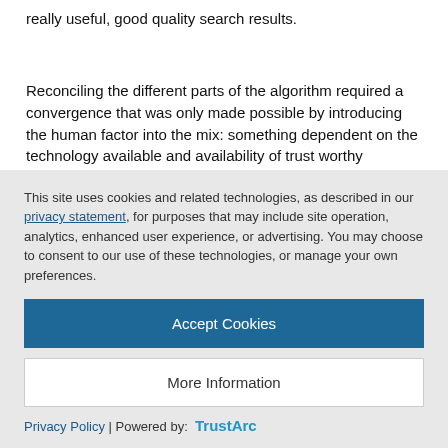really useful, good quality search results.
Reconciling the different parts of the algorithm required a convergence that was only made possible by introducing the human factor into the mix: something dependent on the technology available and availability of trust worthy signals.  In the run up to the Panda update, that's exactly what became available: Moore's law was (is) still ticking along while the
This site uses cookies and related technologies, as described in our privacy statement, for purposes that may include site operation, analytics, enhanced user experience, or advertising. You may choose to consent to our use of these technologies, or manage your own preferences.
Accept Cookies
More Information
Privacy Policy | Powered by: TrustArc